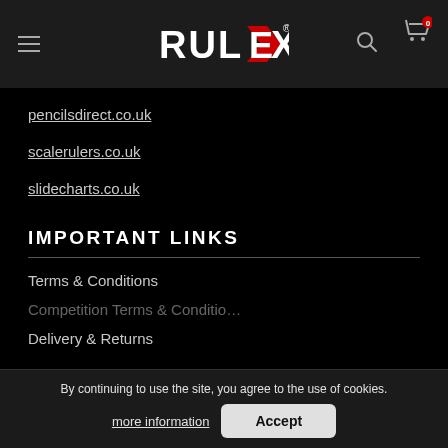RULEX (logo with navigation icons)
pencilsdirect.co.uk
scalerulers.co.uk
slidecharts.co.uk
IMPORTANT LINKS
Terms & Conditions
Competition Terms & Conditions
Delivery & Returns
By continuing to use the site, you agree to the use of cookies. more information  Accept